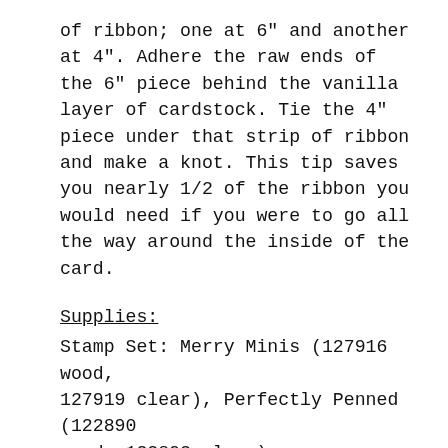of ribbon; one at 6" and another at 4". Adhere the raw ends of the 6" piece behind the vanilla layer of cardstock. Tie the 4" piece under that strip of ribbon and make a knot. This tip saves you nearly 1/2 of the ribbon you would need if you were to go all the way around the inside of the card.
Supplies:
Stamp Set: Merry Minis (127916 wood, 127919 clear), Perfectly Penned (122890 wood, 122892 clear)
Cardstock: Early Espresso, Very Vanilla
Ink Pads: Early Espresso, Island Indigo
Designer Paper: Festival of Prints (126904)